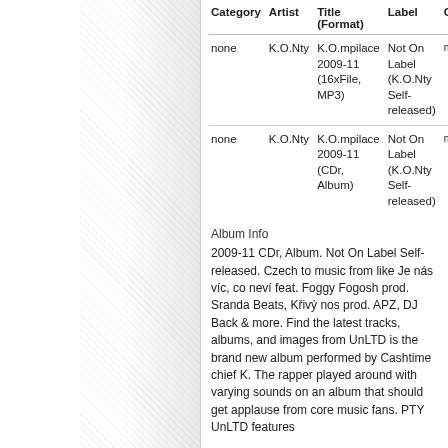| Category | Artist | Title (Format) | Label | C |
| --- | --- | --- | --- | --- |
| none | K.O.Nty | K.O.mpilace 2009-11 (16xFile, MP3) | Not On Label (K.O.Nty Self-released) | no |
| none | K.O.Nty | K.O.mpilace 2009-11 (CDr, Album) | Not On Label (K.O.Nty Self-released) | no |
Album Info
2009-11 CDr, Album. Not On Label Self-released. Czech to music from like Je nás víc, co neví feat. Foggy Fogosh prod. Sranda Beats, Křivý nos prod. APZ, DJ Back & more. Find the latest tracks, albums, and images from UnLTD is the brand new album performed by Cashtime chief K. The rapper played around with varying sounds on an album that should get applause from core music fans. PTY UnLTD features